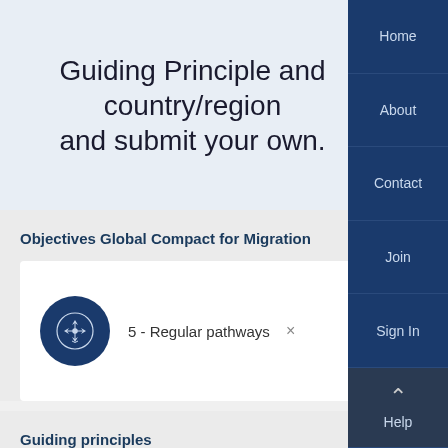Guiding Principle and country/region and submit your own.
Objectives Global Compact for Migration
5 - Regular pathways  ×
Guiding principles
[Figure (logo): Colorful circular logo partially visible at bottom]
Home
About
Contact
Join
Sign In
Help